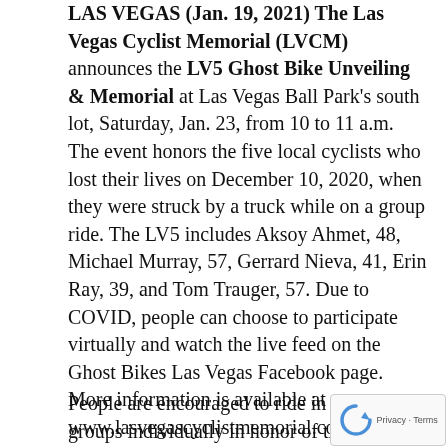LAS VEGAS (Jan. 19, 2021) The Las Vegas Cyclist Memorial (LVCM) announces the LV5 Ghost Bike Unveiling & Memorial at Las Vegas Ball Park's south lot, Saturday, Jan. 23, from 10 to 11 a.m. The event honors the five local cyclists who lost their lives on December 10, 2020, when they were struck by a truck while on a group ride. The LV5 includes Aksoy Ahmet, 48, Michael Murray, 57, Gerrard Nieva, 41, Erin Ray, 39, and Tom Trauger, 57. Due to COVID, people can choose to participate virtually and watch the live feed on the Ghost Bikes Las Vegas Facebook page. More information is available at www.lasvegascyclistmemorial.com.
People are encouraged to ride in small groups individually in honor of the LV5 following the